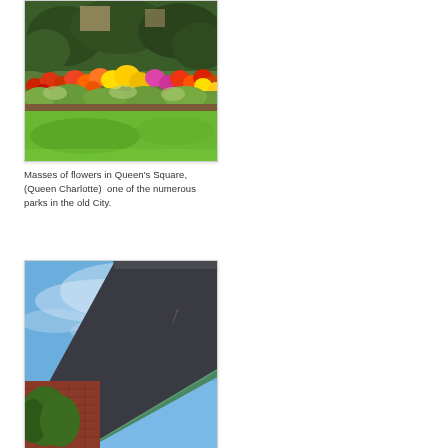[Figure (photo): Colourful flower beds — red, orange, yellow, and pink blooms over green lawn — in Queen's Square park, with trees in the background.]
Masses of flowers in Queen's Square, (Queen Charlotte)  one of the numerous parks in the old City.
[Figure (photo): A church or historic building with a dark slate roof and green copper trim against a bright blue sky, with green trees visible at lower left.]